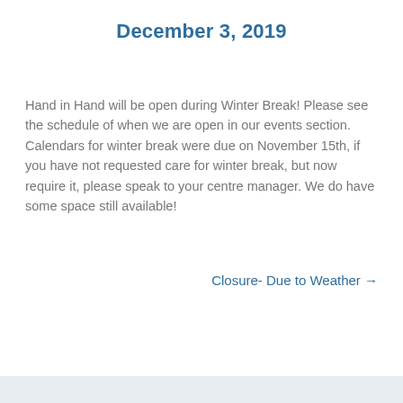December 3, 2019
Hand in Hand will be open during Winter Break! Please see the schedule of when we are open in our events section. Calendars for winter break were due on November 15th, if you have not requested care for winter break, but now require it, please speak to your centre manager. We do have some space still available!
Closure- Due to Weather →